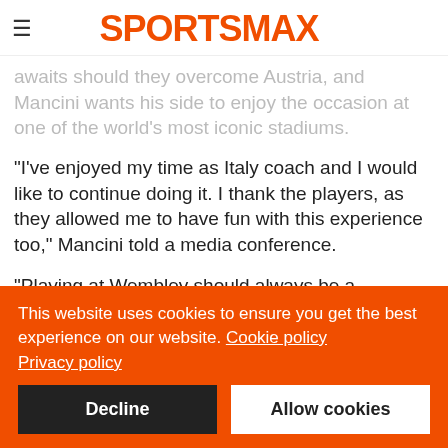SPORTSMAX
awaits should they overcome Austria, and Mancini wants his side to enjoy the occasion at one of the world's most iconic stadiums.
"I've enjoyed my time as Italy coach and I would like to continue doing it. I thank the players, as they allowed me to have fun with this experience too," Mancini told a media conference.
"Playing at Wembley should always be a pleasure. There are players in this squad who have never experienced it and they ought to relish this opportunity in a beautiful stadium.
This website uses cookies to ensure you get the best experience on our website. Cookie policy
Privacy policy
Decline
Allow cookies